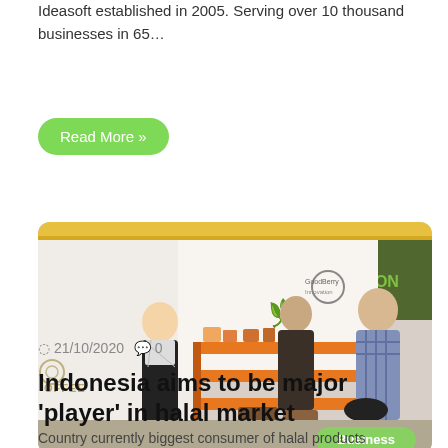Ideasoft established in 2005. Serving over 10 thousand businesses in 65…
Read More »
[Figure (photo): Trade show booth scene with a young man in a black and white outfit showing products to two visitors; orange shelving, white booth walls, COFFEE logo visible at lower left, Business badge at lower right.]
21/10/2020  🗨 0
Indonesia aims to be major 'player' in halal market
Country currently biggest consumer of halal products worldwide, says